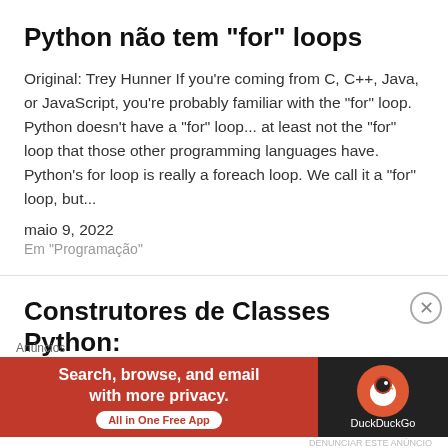Python não tem “for” loops
Original: Trey Hunner If you're coming from C, C++, Java, or JavaScript, you're probably familiar with the "for" loop. Python doesn't have a "for" loop... at least not the "for" loop that those other programming languages have. Python's for loop is really a foreach loop. We call it a "for" loop, but...
maio 9, 2022
Em "Programação"
Construtores de Classes Python:
[Figure (screenshot): DuckDuckGo advertisement banner with orange/red background on left side showing 'Search, browse, and email with more privacy. All in One Free App' and dark right panel with DuckDuckGo logo and name. Includes close button and 'Anúncios' label.]